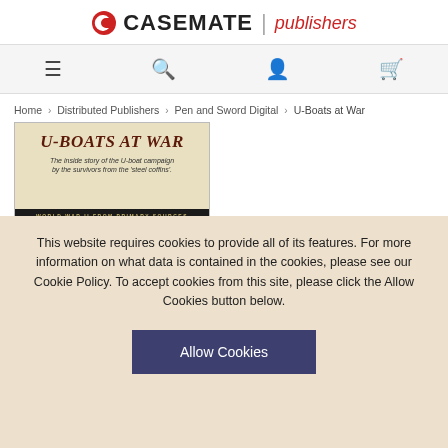[Figure (logo): Casemate Publishers logo with red C icon and text]
[Figure (screenshot): Navigation bar with menu, search, account, and cart icons]
Home › Distributed Publishers › Pen and Sword Digital › U-Boats at War
[Figure (illustration): Book cover for 'U-Boats at War: The inside story of the U-boat campaign by the survivors from the steel coffins.' World War II From Primary Sources]
This website requires cookies to provide all of its features. For more information on what data is contained in the cookies, please see our Cookie Policy. To accept cookies from this site, please click the Allow Cookies button below.
Allow Cookies